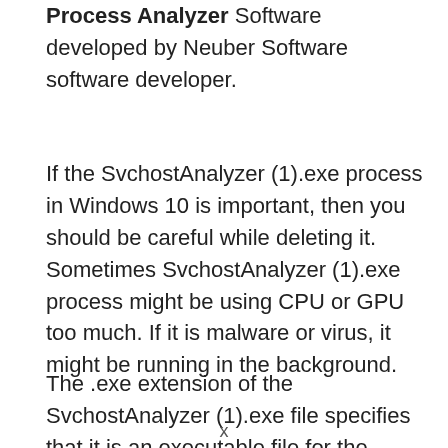Process Analyzer Software developed by Neuber Software software developer.
If the SvchostAnalyzer (1).exe process in Windows 10 is important, then you should be careful while deleting it. Sometimes SvchostAnalyzer (1).exe process might be using CPU or GPU too much. If it is malware or virus, it might be running in the background.
The .exe extension of the SvchostAnalyzer (1).exe file specifies that it is an executable file for the
x